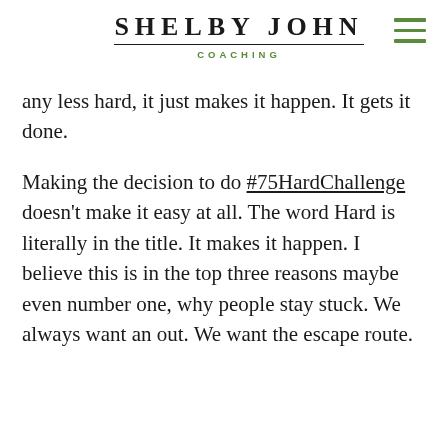SHELBY JOHN COACHING
any less hard, it just makes it happen. It gets it done.
Making the decision to do #75HardChallenge doesn't make it easy at all. The word Hard is literally in the title. It makes it happen. I believe this is in the top three reasons maybe even number one, why people stay stuck. We always want an out. We want the escape route.